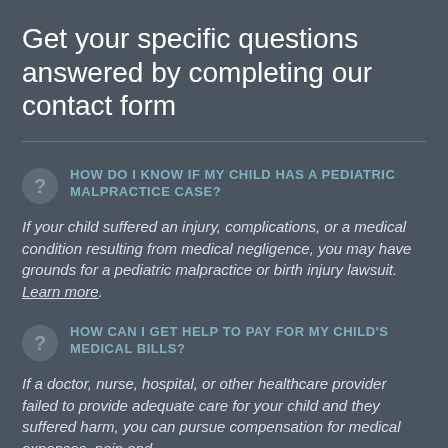Get your specific questions answered by completing our contact form
HOW DO I KNOW IF MY CHILD HAS A PEDIATRIC MALPRACTICE CASE?
If your child suffered an injury, complications, or a medical condition resulting from medical negligence, you may have grounds for a pediatric malpractice or birth injury lawsuit. Learn more.
HOW CAN I GET HELP TO PAY FOR MY CHILD'S MEDICAL BILLS?
If a doctor, nurse, hospital, or other healthcare provider failed to provide adequate care for your child and they suffered harm, you can pursue compensation for medical expenses, pain and